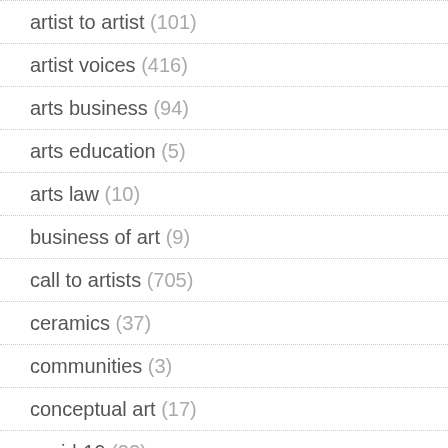artist to artist (101)
artist voices (416)
arts business (94)
arts education (5)
arts law (10)
business of art (9)
call to artists (705)
ceramics (37)
communities (3)
conceptual art (17)
covid-19 (22)